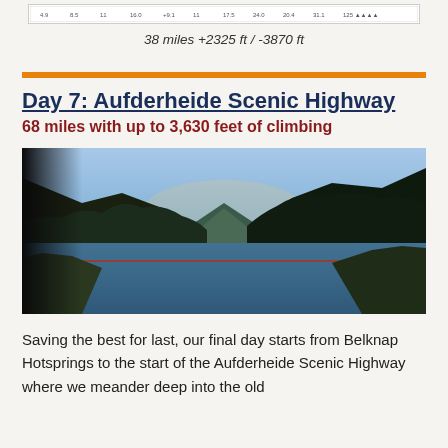[Figure (other): Partial elevation chart stub at top of page showing distance markers]
38 miles +2325 ft / -3870 ft
Day 7: Aufderheide Scenic Highway
68 miles with up to 3,630 feet of climbing
[Figure (photo): Scenic lake surrounded by forested mountains under a blue sky, with a reflective calm water surface and a faint red line across the mid-lake.]
Saving the best for last, our final day starts from Belknap Hotsprings to the start of the Aufderheide Scenic Highway where we meander deep into the old